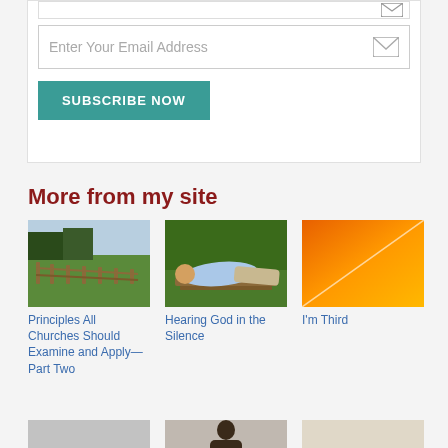[Figure (screenshot): Email input field with placeholder text and envelope icon]
Enter Your Email Address
SUBSCRIBE NOW
More from my site
[Figure (photo): Rural fence and green field landscape]
Principles All Churches Should Examine and Apply—Part Two
[Figure (photo): Person lying on a bench outdoors]
Hearing God in the Silence
[Figure (illustration): Orange gradient square with diagonal white line]
I'm Third
[Figure (photo): Bottom row article thumbnail - gray]
[Figure (photo): Bottom row article thumbnail - person]
[Figure (photo): Bottom row article thumbnail - light]